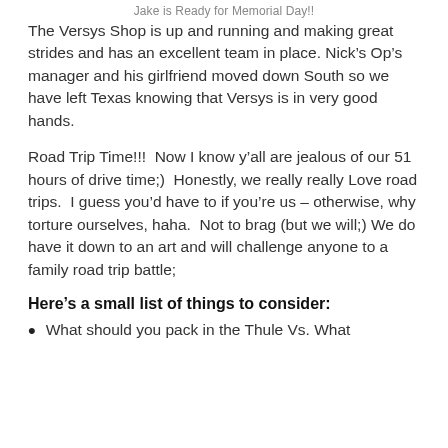Jake is Ready for Memorial Day!!
The Versys Shop is up and running and making great strides and has an excellent team in place. Nick’s Op’s manager and his girlfriend moved down South so we have left Texas knowing that Versys is in very good hands.
Road Trip Time!!!  Now I know y’all are jealous of our 51 hours of drive time;)  Honestly, we really really Love road trips.  I guess you’d have to if you’re us – otherwise, why torture ourselves, haha.  Not to brag (but we will;) We do have it down to an art and will challenge anyone to a family road trip battle;
Here’s a small list of things to consider:
What should you pack in the Thule Vs. What